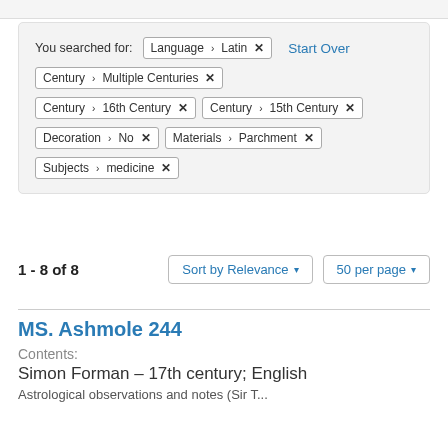You searched for: Language > Latin [x]   Start Over
Century > Multiple Centuries [x]
Century > 16th Century [x]   Century > 15th Century [x]
Decoration > No [x]   Materials > Parchment [x]
Subjects > medicine [x]
1 - 8 of 8   Sort by Relevance ▾   50 per page ▾
MS. Ashmole 244
Contents:
Simon Forman – 17th century; English
Astrological observations and notes (Sir T...